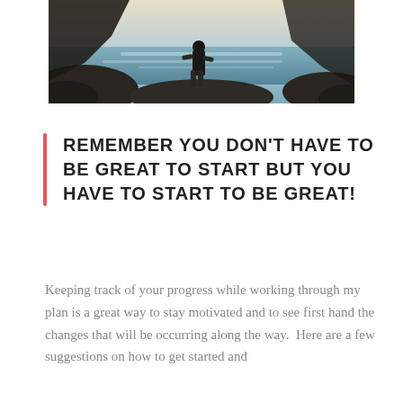[Figure (photo): Person standing on rocks by the ocean, viewed from inside a cave or rock arch. Silhouette against a bright sky and blue sea.]
REMEMBER YOU DON'T HAVE TO BE GREAT TO START BUT YOU HAVE TO START TO BE GREAT!
Keeping track of your progress while working through my plan is a great way to stay motivated and to see first hand the changes that will be occurring along the way.  Here are a few suggestions on how to get started and